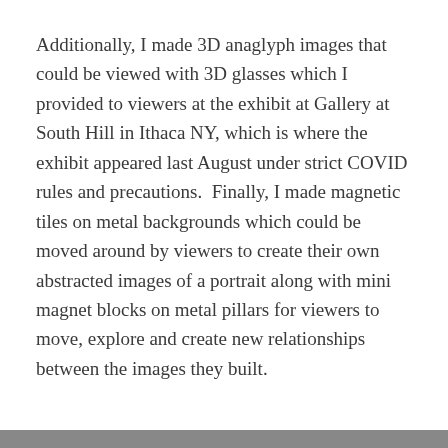Additionally, I made 3D anaglyph images that could be viewed with 3D glasses which I provided to viewers at the exhibit at Gallery at South Hill in Ithaca NY, which is where the exhibit appeared last August under strict COVID rules and precautions.  Finally, I made magnetic tiles on metal backgrounds which could be moved around by viewers to create their own abstracted images of a portrait along with mini magnet blocks on metal pillars for viewers to move, explore and create new relationships between the images they built.